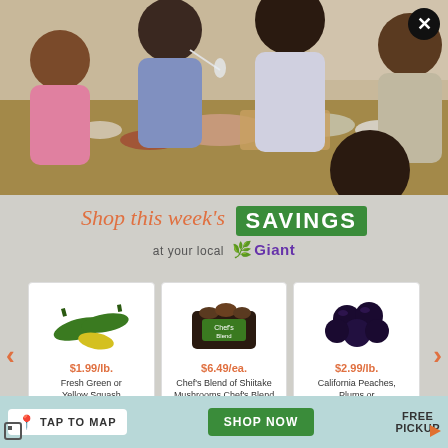[Figure (photo): Family of multiple generations sitting around a dining table sharing a meal, smiling and laughing]
Shop this week's SAVINGS
at your local  Giant
[Figure (photo): Fresh green or yellow squash vegetables]
$1.99/lb. Fresh Green or Yellow Squash
[Figure (photo): Chef's Blend of Shiitake Mushrooms package]
$6.49/ea. Chef's Blend of Shiitake Mushrooms Chef's Blend 14 oz. or Shiitake 8 oz. pkg.
[Figure (photo): California Peaches, Plums or Nectarines, dark round fruits]
$2.99/lb. California Peaches, Plums or Nectarines, Ripe and Juicy
TAP TO MAP
SHOP NOW
FREE PICKUP